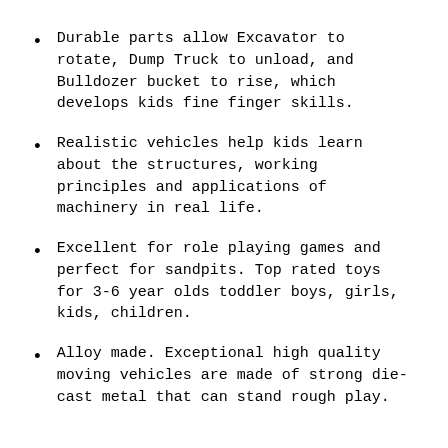Durable parts allow Excavator to rotate, Dump Truck to unload, and Bulldozer bucket to rise, which develops kids fine finger skills.
Realistic vehicles help kids learn about the structures, working principles and applications of machinery in real life.
Excellent for role playing games and perfect for sandpits. Top rated toys for 3-6 year olds toddler boys, girls, kids, children.
Alloy made. Exceptional high quality moving vehicles are made of strong die-cast metal that can stand rough play.